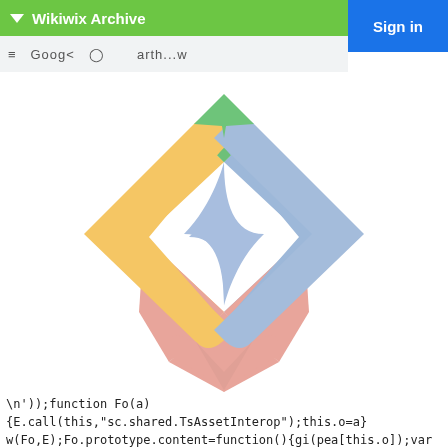▼ Wikiwix Archive
[Figure (logo): Google Bard / Gemini AI colorful diamond logo with a four-pointed star in the center. The diamond outline is made of four colored segments: yellow-left, blue-right, red-bottom-left, pink-bottom-right. The center star is light blue.]
\n'));function Fo(a)
{E.call(this,"sc.shared.TsAssetInterop");this.o=a}
w(Fo,E);Fo.prototype.content=function(){gi(pea[this.o]);var